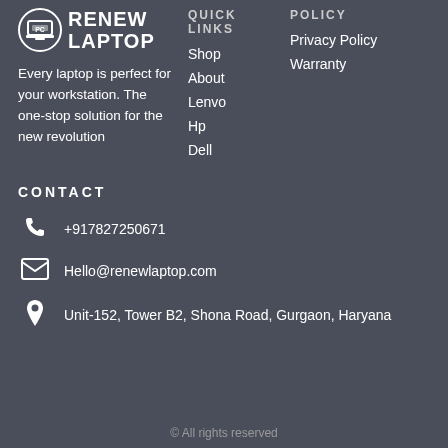[Figure (logo): Renew Laptop logo with laptop icon and text RENEW LAPTOP]
Every laptop is perfect for your workstation. The one-stop solution for the new revolution
QUICK LINKS
Shop
About
Lenvo
Hp
Dell
POLICY
Privacy Policy
Warranty
CONTACT
+917827250671
Hello@renewlaptop.com
Unit-152, Tower B2, Shona Road, Gurgaon, Haryana
© All rights reserved